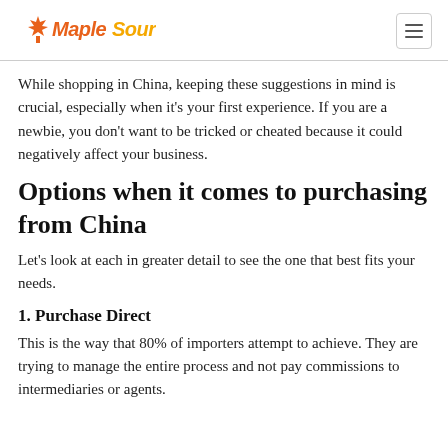Maple Sourcing
While shopping in China, keeping these suggestions in mind is crucial, especially when it's your first experience. If you are a newbie, you don't want to be tricked or cheated because it could negatively affect your business.
Options when it comes to purchasing from China
Let's look at each in greater detail to see the one that best fits your needs.
1. Purchase Direct
This is the way that 80% of importers attempt to achieve. They are trying to manage the entire process and not pay commissions to intermediaries or agents.